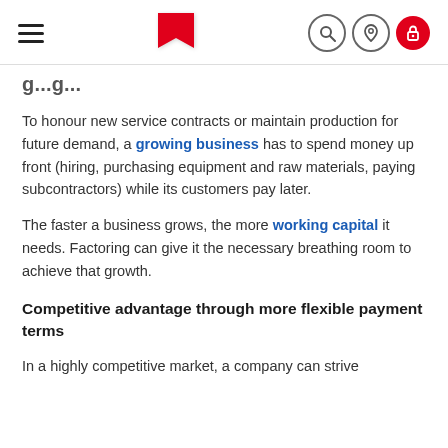[Navigation header with hamburger menu, red flag logo, search icon, location icon, and red lock icon]
g...g...
To honour new service contracts or maintain production for future demand, a growing business has to spend money up front (hiring, purchasing equipment and raw materials, paying subcontractors) while its customers pay later.
The faster a business grows, the more working capital it needs. Factoring can give it the necessary breathing room to achieve that growth.
Competitive advantage through more flexible payment terms
In a highly competitive market, a company can strive